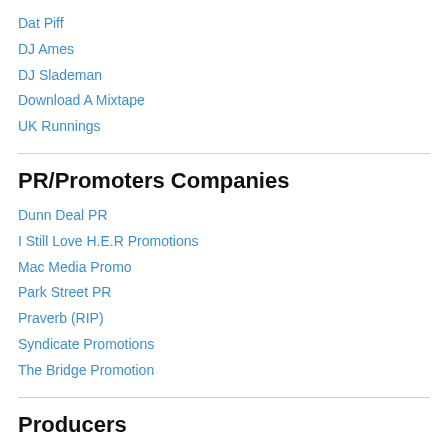Dat Piff
DJ Ames
DJ Slademan
Download A Mixtape
UK Runnings
PR/Promoters Companies
Dunn Deal PR
I Still Love H.E.R Promotions
Mac Media Promo
Park Street PR
Praverb (RIP)
Syndicate Promotions
The Bridge Promotion
Producers